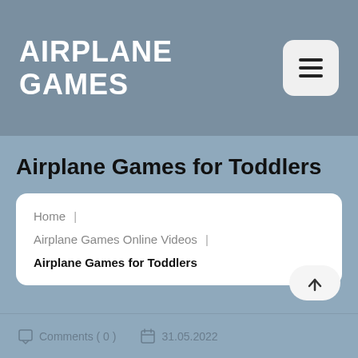AIRPLANE GAMES
Airplane Games for Toddlers
Home | Airplane Games Online Videos | Airplane Games for Toddlers
Comments ( 0 )   31.05.2022